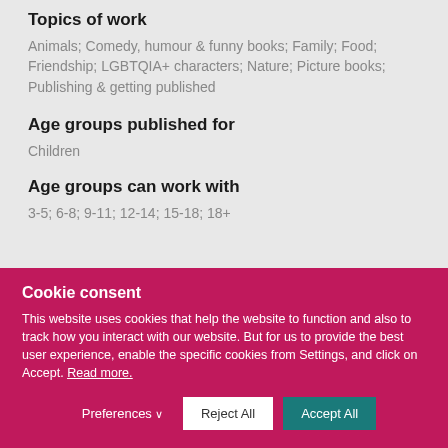Topics of work
Animals; Comedy, humour & funny books; Family; Food; Friendship; LGBTQIA+ characters; Nature; Picture books; Publishing & getting published
Age groups published for
Children
Age groups can work with
3-5; 6-8; 9-11; 12-14; 15-18; 18+
Cookie consent
This website uses cookies that help the website to function and also to track how you interact with our website. But for us to provide the best user experience, enable the specific cookies from Settings, and click on Accept. Read more.